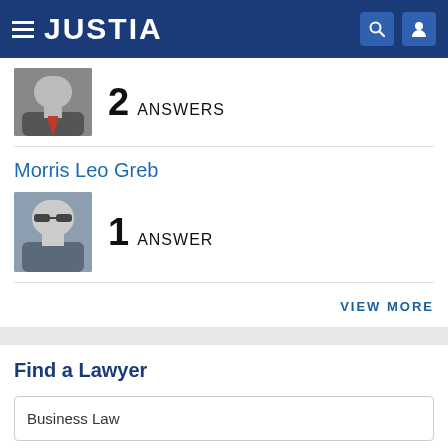JUSTIA
[Figure (photo): Attorney photo - man in suit with red tie]
2 ANSWERS
Morris Leo Greb
[Figure (photo): Attorney photo - man wearing sunglasses]
1 ANSWER
VIEW MORE
Find a Lawyer
Business Law
New Jersey
Search